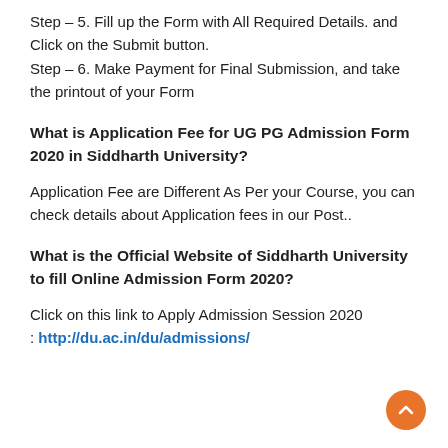Step – 5. Fill up the Form with All Required Details. and Click on the Submit button.
Step – 6. Make Payment for Final Submission, and take the printout of your Form
What is Application Fee for UG PG Admission Form 2020 in Siddharth University?
Application Fee are Different As Per your Course, you can check details about Application fees in our Post..
What is the Official Website of Siddharth University to fill Online Admission Form 2020?
Click on this link to Apply Admission Session 2020 : http://du.ac.in/du/admissions/